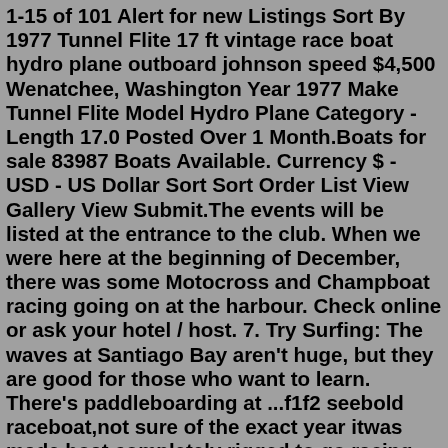1-15 of 101 Alert for new Listings Sort By 1977 Tunnel Flite 17 ft vintage race boat hydro plane outboard johnson speed $4,500 Wenatchee, Washington Year 1977 Make Tunnel Flite Model Hydro Plane Category - Length 17.0 Posted Over 1 Month.Boats for sale 83987 Boats Available. Currency $ - USD - US Dollar Sort Sort Order List View Gallery View Submit.The events will be listed at the entrance to the club. When we were here at the beginning of December, there was some Motocross and Champboat racing going on at the harbour. Check online or ask your hotel / host. 7. Try Surfing: The waves at Santiago Bay aren't huge, but they are good for those who want to learn. There's paddleboarding at ...f1f2 seebold raceboat,not sure of the exact year itwas made,boat completely rigged to go racing minus powerhead and gearcase, 12" offshore rig, two trim pumps, fuel pump, life line restraint system, has two trailers and one aluminum dolly, four painted sponson tips, four dewald four blade props, one three blade prop, one extra painted